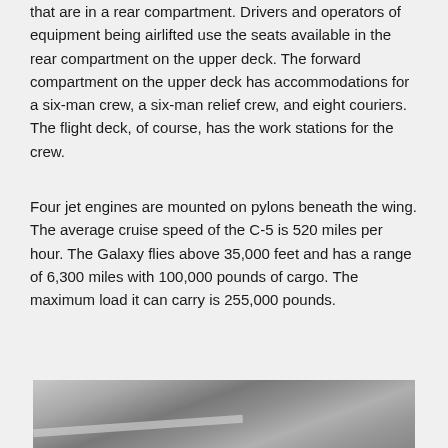that are in a rear compartment. Drivers and operators of equipment being airlifted use the seats available in the rear compartment on the upper deck. The forward compartment on the upper deck has accommodations for a six-man crew, a six-man relief crew, and eight couriers. The flight deck, of course, has the work stations for the crew.
Four jet engines are mounted on pylons beneath the wing. The average cruise speed of the C-5 is 520 miles per hour. The Galaxy flies above 35,000 feet and has a range of 6,300 miles with 100,000 pounds of cargo. The maximum load it can carry is 255,000 pounds.
[Figure (photo): Black and white aerial or ground photograph, partially visible at bottom of page, showing what appears to be an aircraft or airfield scene.]